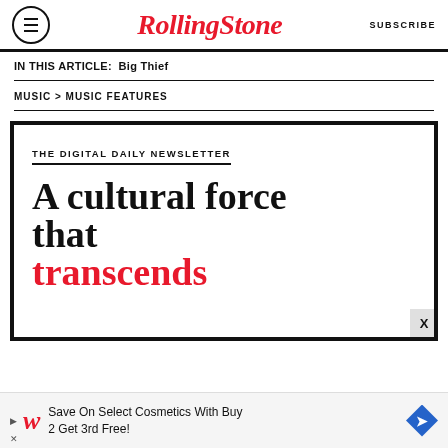Rolling Stone | SUBSCRIBE
IN THIS ARTICLE:  Big Thief
MUSIC > MUSIC FEATURES
[Figure (infographic): Rolling Stone Digital Daily Newsletter promotional box with headline 'A cultural force that transcends' in black and red text]
[Figure (infographic): Advertisement banner: Save On Select Cosmetics With Buy 2 Get 3rd Free! - Walgreens ad]